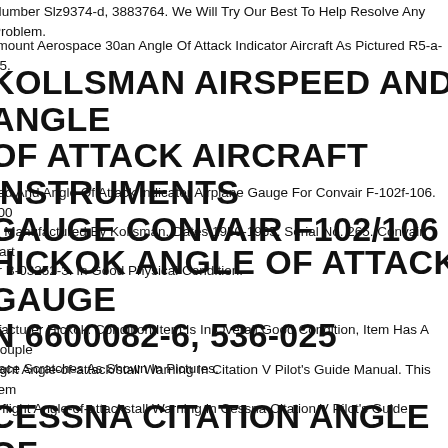Number Slz9374-d, 3883764. We Will Try Our Best To Help Resolve Any Problem.
rmount Aerospace 30an Angle Of Attack Indicator Aircraft As Pictured R5-a-25.
KOLLSMAN AIRSPEED AND ANGLE OF ATTACK AIRCRAFT INSTRUMENTS GAUGE CONVAIR F102/106
eed And Angle Of Attack Indicator Airplane Gauge For Convair F-102f-106. 800 s. Manufactured By Kollsman. Dates 1950-1965. Serial No. 265. Convair Part er B-03252-3. In Good Physical Condition.
HICKOK ANGLE OF ATTACK GAUGE N 6600082-6, 536-025
nfacturer Hickok. Condition Item Is In Overall Good Condition, Item Has A Couple rface Scratches As Shown In Pictures.
flight Angle-of-attack/stall Warning In Citation V Pilot's Guide Manual. This Item e-flight Angle-of-attackstall Warning In Cessna Citation V Pilot's Guide.
CESSNA CITATION ANGLE OF ATTACK TRANSMITTER MOUNTING ATE 3Q7-146 SLZ9268